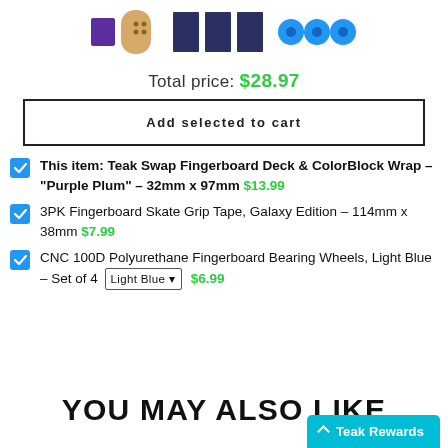[Figure (photo): Product images: purple/wood fingerboard deck, grip tape strips, blue wheels]
Total price: $28.97
Add selected to cart
This item: Teak Swap Fingerboard Deck & ColorBlock Wrap - "Purple Plum" - 32mm x 97mm $13.99
3PK Fingerboard Skate Grip Tape, Galaxy Edition - 114mm x 38mm $7.99
CNC 100D Polyurethane Fingerboard Bearing Wheels, Light Blue - Set of 4 Light Blue $6.99
YOU MAY ALSO LIKE